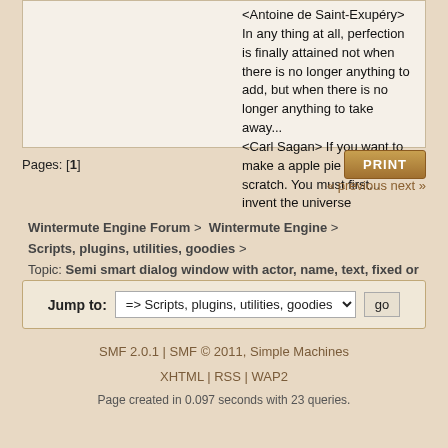<Antoine de Saint-Exupéry> In any thing at all, perfection is finally attained not when there is no longer anything to add, but when there is no longer anything to take away... <Carl Sagan> If you want to make a apple pie from scratch. You must first... invent the universe
Pages: [1]
PRINT
« previous next »
Wintermute Engine Forum > Wintermute Engine > Scripts, plugins, utilities, goodies > Topic: Semi smart dialog window with actor, name, text, fixed or variable display time
Jump to: => Scripts, plugins, utilities, goodies  go
SMF 2.0.1 | SMF © 2011, Simple Machines  XHTML | RSS | WAP2  Page created in 0.097 seconds with 23 queries.